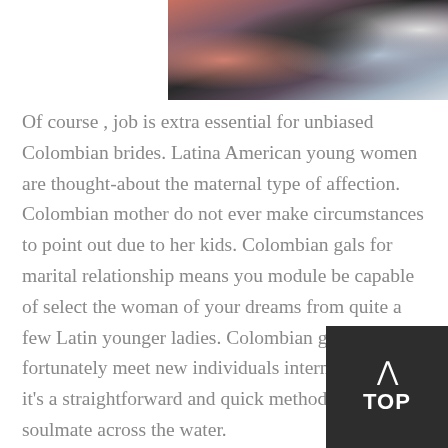[Figure (photo): Partial photo of a group of women at an outdoor gathering, cropped at top]
Of course , job is extra essential for unbiased Colombian brides. Latina American young women are thought-about the maternal type of affection. Colombian mother do not ever make circumstances to point out due to her kids. Colombian gals for marital relationship means you module be capable of select the woman of your dreams from quite a few Latin younger ladies. Colombian girls are fortunately meet new individuals internet because it's a straightforward and quick method uncover a soulmate across the water.